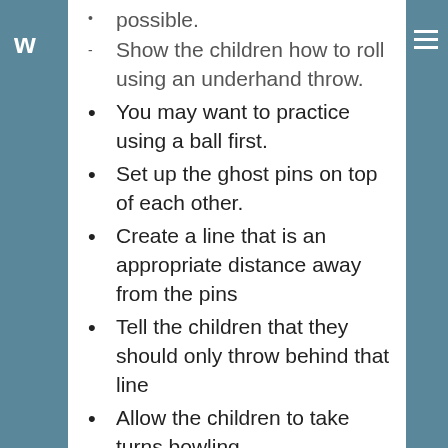Show the children how to roll using an underhand throw.
You may want to practice using a ball first.
Set up the ghost pins on top of each other.
Create a line that is an appropriate distance away from the pins
Tell the children that they should only throw behind that line
Allow the children to take turns bowling
Assessment: